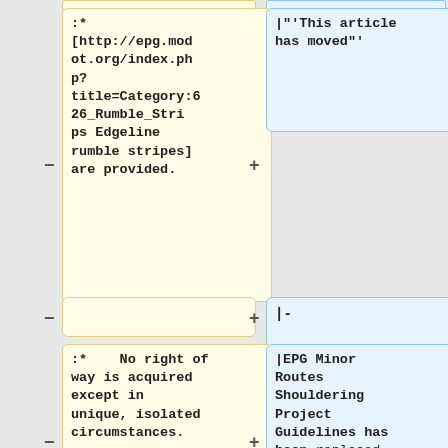:* [http://epg.modot.org/index.php?title=Category:626_Rumble_Strips Edgeline rumble stripes] are provided.
|"'This article has moved"'
|-
:*  No right of way is acquired except in unique, isolated circumstances.
|EPG Minor Routes Shouldering Project Guidelines has been replaced by [[231.4 Shoulder Width#231.4.3 Shoulder Widening